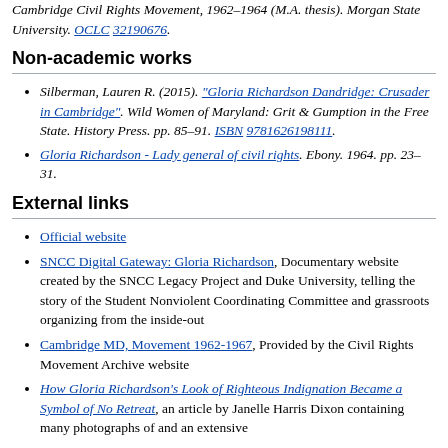Cambridge Civil Rights Movement, 1962-1964 (M.A. thesis). Morgan State University. OCLC 32190676.
Non-academic works
Silberman, Lauren R. (2015). "Gloria Richardson Dandridge: Crusader in Cambridge". Wild Women of Maryland: Grit & Gumption in the Free State. History Press. pp. 85–91. ISBN 9781626198111.
Gloria Richardson - Lady general of civil rights. Ebony. 1964. pp. 23–31.
External links
Official website
SNCC Digital Gateway: Gloria Richardson, Documentary website created by the SNCC Legacy Project and Duke University, telling the story of the Student Nonviolent Coordinating Committee and grassroots organizing from the inside-out
Cambridge MD, Movement 1962-1967, Provided by the Civil Rights Movement Archive website
How Gloria Richardson's Look of Righteous Indignation Became a Symbol of No Retreat, an article by Janelle Harris Dixon containing many photographs of and an extensive